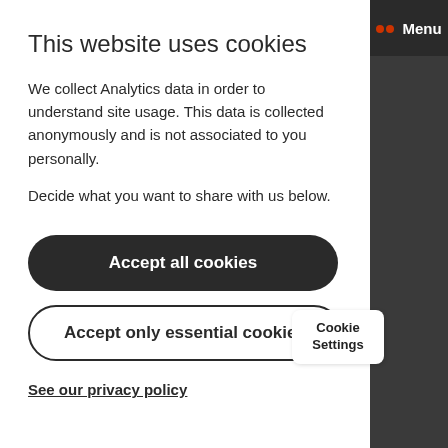Menu
This website uses cookies
We collect Analytics data in order to understand site usage. This data is collected anonymously and is not associated to you personally.
Decide what you want to share with us below.
Accept all cookies
Accept only essential cookies
See our privacy policy
Cookie Settings